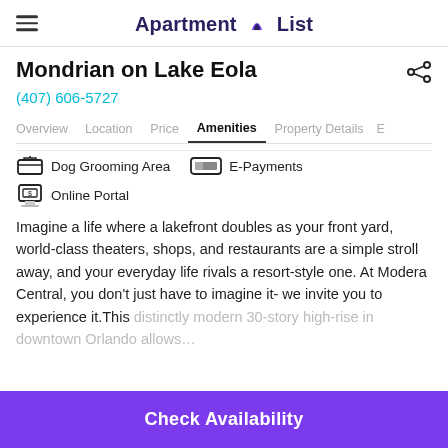Apartment List
Mondrian on Lake Eola
(407) 606-5727
Overview  Location  Price  Amenities  Property Details  E
Dog Grooming Area
E-Payments
Online Portal
Imagine a life where a lakefront doubles as your front yard, world-class theaters, shops, and restaurants are a simple stroll away, and your everyday life rivals a resort-style one. At Modera Central, you don't just have to imagine it- we invite you to experience it. This distinctly modern 30-story high-rise in downtown Orlando allows…
Check Availability